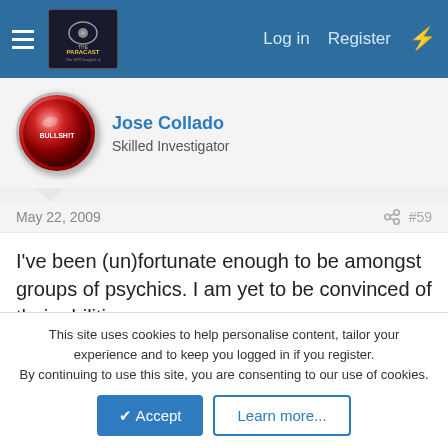The Paracast — Log in | Register
Jose Collado — Skilled Investigator
May 22, 2009  #59
I've been (un)fortunate enough to be amongst groups of psychics. I am yet to be convinced of their abilities.
daz smith — Skilled Investigator
May 22, 2009  #60
This site uses cookies to help personalise content, tailor your experience and to keep you logged in if you register. By continuing to use this site, you are consenting to our use of cookies.